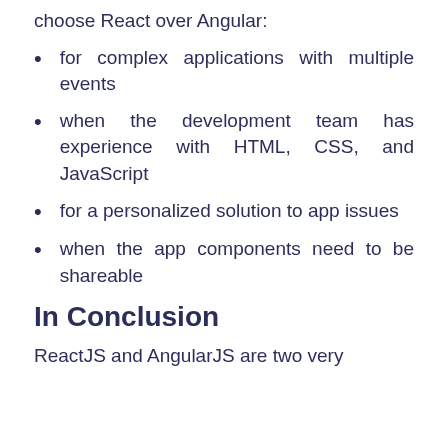choose React over Angular:
for complex applications with multiple events
when the development team has experience with HTML, CSS, and JavaScript
for a personalized solution to app issues
when the app components need to be shareable
In Conclusion
ReactJS and AngularJS are two very